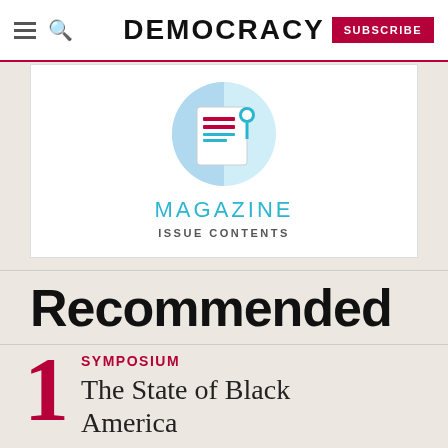DEMOCRACY
[Figure (logo): Magazine issue contents icon: circular blue icon with stylized newspaper/document graphic]
MAGAZINE ISSUE CONTENTS
Recommended
SYMPOSIUM
The State of Black America
SUMMER, NO. 65 – 1 MIN READ